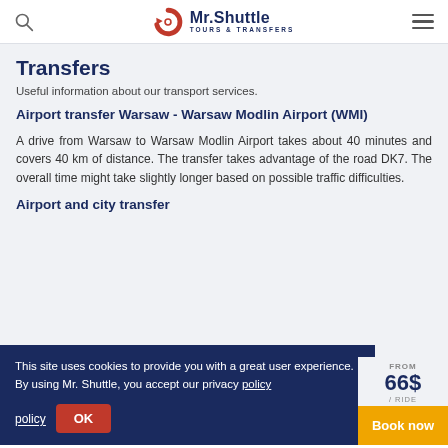Mr. Shuttle – TOURS & TRANSFERS
Transfers
Useful information about our transport services.
Airport transfer Warsaw - Warsaw Modlin Airport (WMI)
A drive from Warsaw to Warsaw Modlin Airport takes about 40 minutes and covers 40 km of distance. The transfer takes advantage of the road DK7. The overall time might take slightly longer based on possible traffic difficulties.
Airport and city transfer
This site uses cookies to provide you with a great user experience. By using Mr. Shuttle, you accept our privacy policy
FROM 66$ / RIDE  Book now